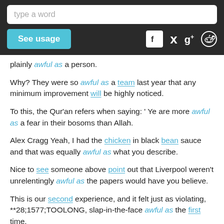type a word | See usage
plainly awful as a person.
Why? They were so awful as a team last year that any minimum improvement will be highly noticed.
To this, the Qur'an refers when saying: ' Ye are more awful as a fear in their bosoms than Allah.
Alex Cragg Yeah, I had the chicken in black bean sauce and that was equally awful as what you describe.
Nice to see someone above point out that Liverpool weren't unrelentingly awful as the papers would have you believe.
This is our second experience, and it felt just as violating, **28;1577;TOOLONG, slap-in-the-face awful as the first time.